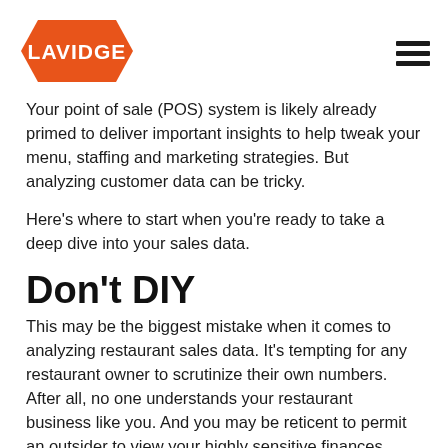LAVIDGE
Your point of sale (POS) system is likely already primed to deliver important insights to help tweak your menu, staffing and marketing strategies. But analyzing customer data can be tricky.
Here's where to start when you're ready to take a deep dive into your sales data.
Don't DIY
This may be the biggest mistake when it comes to analyzing restaurant sales data. It's tempting for any restaurant owner to scrutinize their own numbers. After all, no one understands your restaurant business like you. And you may be reticent to permit an outsider to view your highly sensitive finances.